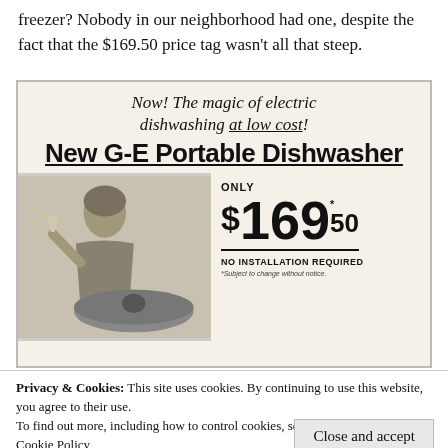freezer? Nobody in our neighborhood had one, despite the fact that the $169.50 price tag wasn't all that steep.
[Figure (illustration): Vintage black and white advertisement for New G-E Portable Dishwasher. Shows italic script headline 'Now! The magic of electric dishwashing at low cost!' followed by bold headline 'New G-E Portable Dishwasher'. A woman holding a glass stands next to a dishwasher. Price shown as $169.50 with 'ONLY' above and 'NO INSTALLATION REQUIRED' below. Footnote: *Subject to change without notice.]
Privacy & Cookies: This site uses cookies. By continuing to use this website, you agree to their use.
To find out more, including how to control cookies, see here:
Cookie Policy
Close and accept